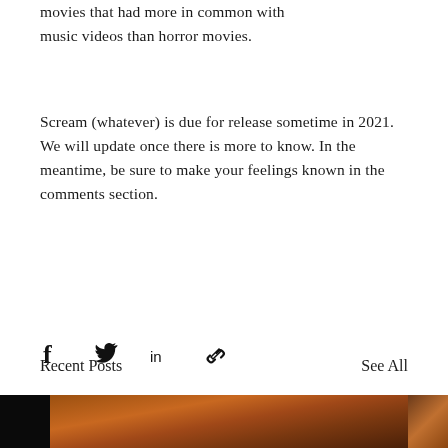movies that had more in common with music videos than horror movies.
Scream (whatever) is due for release sometime in 2021. We will update once there is more to know. In the meantime, be sure to make your feelings known in the comments section.
[Figure (infographic): Social share buttons: Facebook, Twitter, LinkedIn, and link/chain icon]
[Figure (infographic): Comment speech bubble icon]
Recent Posts
See All
[Figure (photo): Three thumbnail images of horror movie related content at the bottom of the page]